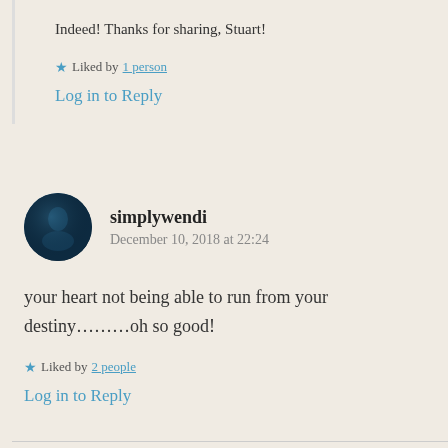Indeed! Thanks for sharing, Stuart!
Liked by 1 person
Log in to Reply
simplywendi
December 10, 2018 at 22:24
your heart not being able to run from your destiny………oh so good!
Liked by 2 people
Log in to Reply